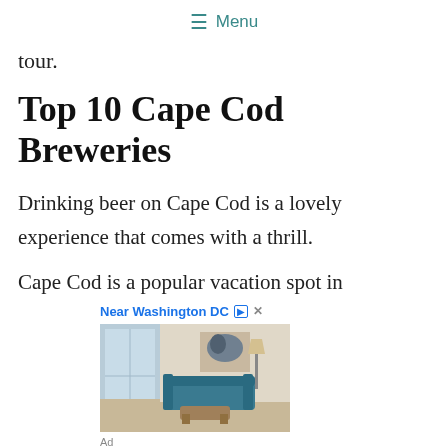≡ Menu
tour.
Top 10 Cape Cod Breweries
Drinking beer on Cape Cod is a lovely experience that comes with a thrill.
Cape Cod is a popular vacation spot in
[Figure (photo): Advertisement showing an interior room with a blue sofa, wooden coffee tables, large windows, and modern decor. Header text reads 'Near Washington DC' with navigation arrows and close button. Ad label shown below.]